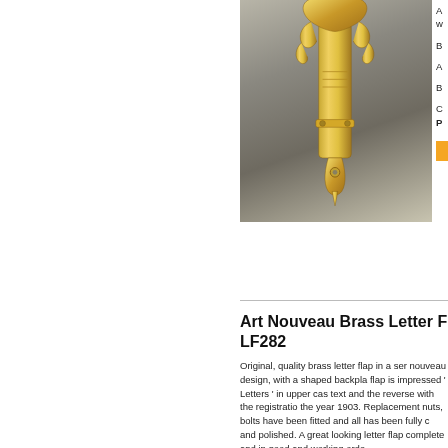[Figure (photo): Close-up photograph of a gold/brass Art Nouveau letter flap with ornate decorative design, shown against a grey background]
A w
B
A
B
C
Price box (orange/amber colour)
Art Nouveau Brass Letter F LF282
Original, quality brass letter flap in a ser nouveau design, with a shaped backpla flap is impressed ' Letters ' in upper cas text and the reverse with the registratio the year 1903. Replacement nuts, bolts have been fitted and all has been fully c and polished. A great looking letter flap complete and in good and working orde